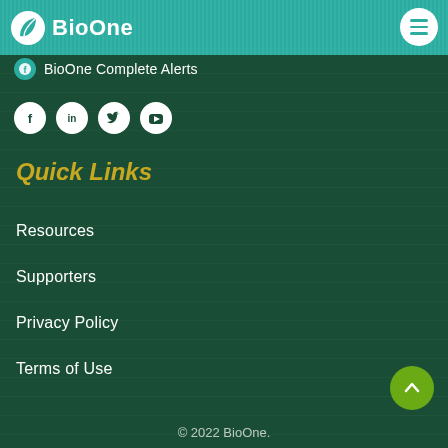[Figure (logo): BioOne logo with leaf icon in teal header bar]
BioOne Complete Alerts
[Figure (infographic): Four social media icons: Facebook, LinkedIn, Twitter, YouTube — white circles on dark green background]
Quick Links
Resources
Supporters
Privacy Policy
Terms of Use
© 2022 BioOne.